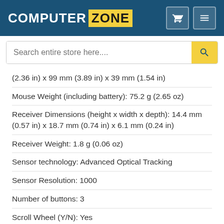COMPUTER ZONE
(2.36 in) x 99 mm (3.89 in) x 39 mm (1.54 in)
Mouse Weight (including battery): 75.2 g (2.65 oz)
Receiver Dimensions (height x width x depth): 14.4 mm (0.57 in) x 18.7 mm (0.74 in) x 6.1 mm (0.24 in)
Receiver Weight: 1.8 g (0.06 oz)
Sensor technology: Advanced Optical Tracking
Sensor Resolution: 1000
Number of buttons: 3
Scroll Wheel (Y/N): Yes
Battery life: 12-month battery life*
Battery type: 1 AA battery